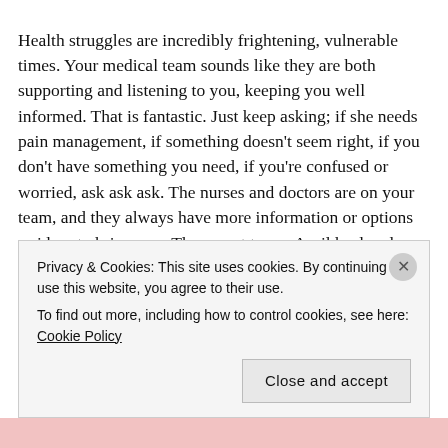Health struggles are incredibly frightening, vulnerable times. Your medical team sounds like they are both supporting and listening to you, keeping you well informed. That is fantastic. Just keep asking; if she needs pain management, if something doesn't seem right, if you don't have something you need, if you're confused or worried, ask ask ask. The nurses and doctors are on your team, and they always have more information or options or ideas to bring you. They want to see April heal and thrive as much as you do.
April, you ARE a warrior. You've been one for the entire 20+ years I've known you. Hang onto those things that feel…
Privacy & Cookies: This site uses cookies. By continuing to use this website, you agree to their use.
To find out more, including how to control cookies, see here: Cookie Policy
Close and accept